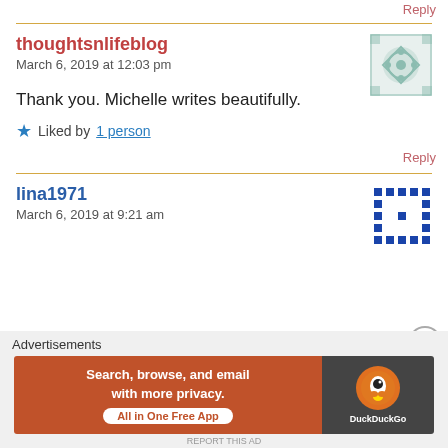Reply
thoughtsnlifeblog
March 6, 2019 at 12:03 pm
[Figure (illustration): Teal geometric avatar icon with diamond/flower pattern]
Thank you. Michelle writes beautifully.
★ Liked by 1 person
Reply
lina1971
March 6, 2019 at 9:21 am
[Figure (illustration): Blue dotted grid/pattern avatar icon]
Advertisements
[Figure (screenshot): DuckDuckGo advertisement banner: Search, browse, and email with more privacy. All in One Free App]